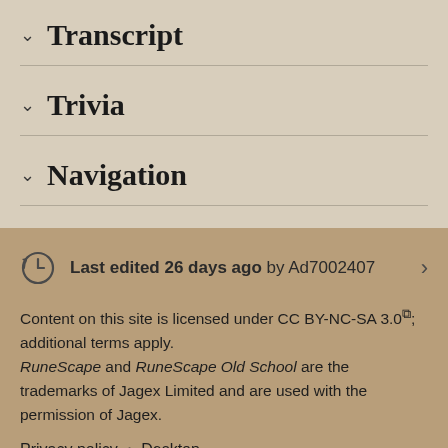Transcript
Trivia
Navigation
Last edited 26 days ago by Ad7002407
Content on this site is licensed under CC BY-NC-SA 3.0; additional terms apply. RuneScape and RuneScape Old School are the trademarks of Jagex Limited and are used with the permission of Jagex.
Privacy policy • Desktop